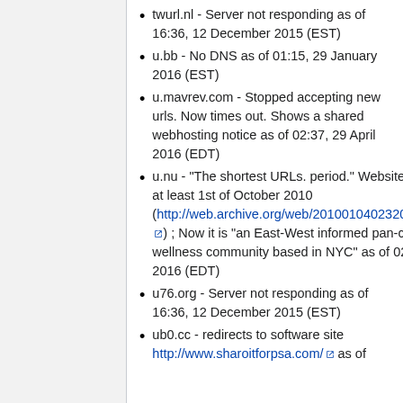twurl.nl - Server not responding as of 16:36, 12 December 2015 (EST)
u.bb - No DNS as of 01:15, 29 January 2016 (EST)
u.mavrev.com - Stopped accepting new urls. Now times out. Shows a shared webhosting notice as of 02:37, 29 April 2016 (EDT)
u.nu - "The shortest URLs. period." Website dead since at least 1st of October 2010 (http://web.archive.org/web/20100104023208/http://u.nu/) ; Now it is "an East-West informed pan-cultural wellness community based in NYC" as of 02:37, 29 April 2016 (EDT)
u76.org - Server not responding as of 16:36, 12 December 2015 (EST)
ub0.cc - redirects to software site http://www.sharoitforpsa.com/ as of